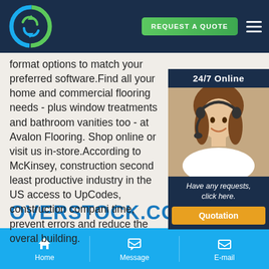REQUEST A QUOTE
format options to match your preferred software.Find all your home and commercial flooring needs - plus window treatments and bathroom vanities too - at Avalon Flooring. Shop online or visit us in-store.According to McKinsey, construction second least productive industry in the US access to UpCodes, construction compani time, prevent errors and reduce the overal building.
[Figure (photo): Customer service representative wearing a headset, smiling, with '24/7 Online' header and 'Have any requests, click here.' text and Quotation button]
OVERSTOCK.COM
Home   Message   E-mail